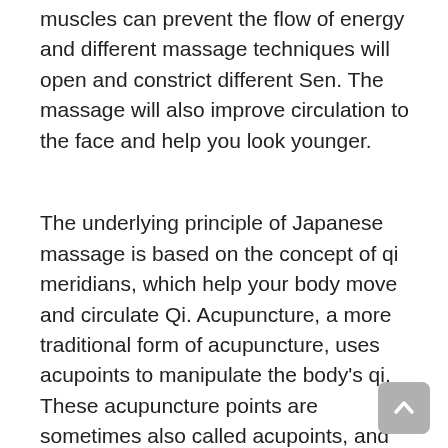muscles can prevent the flow of energy and different massage techniques will open and constrict different Sen. The massage will also improve circulation to the face and help you look younger.
The underlying principle of Japanese massage is based on the concept of qi meridians, which help your body move and circulate Qi. Acupuncture, a more traditional form of acupuncture, uses acupoints to manipulate the body's qi. These acupuncture points are sometimes also called acupoints, and acupressure practitioners apply pressure to these meridians. The session typically lasts one hour, and sometimes several.
The benefits of Shiatsu massage are many. This